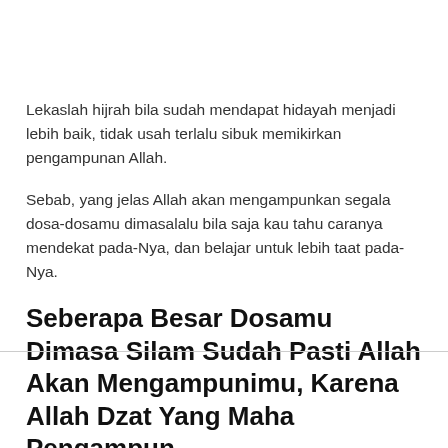Lekaslah hijrah bila sudah mendapat hidayah menjadi lebih baik, tidak usah terlalu sibuk memikirkan pengampunan Allah.
Sebab, yang jelas Allah akan mengampunkan segala dosa-dosamu dimasalalu bila saja kau tahu caranya mendekat pada-Nya, dan belajar untuk lebih taat pada-Nya.
Seberapa Besar Dosamu Dimasa Silam Sudah Pasti Allah Akan Mengampunimu, Karena Allah Dzat Yang Maha Pengampun